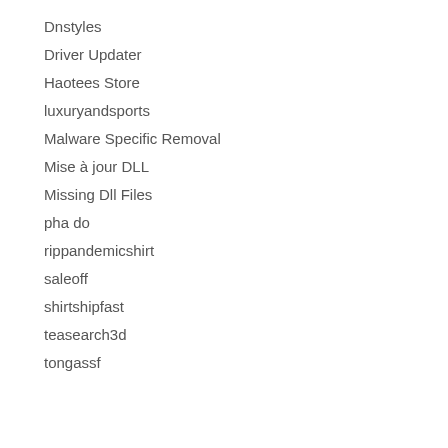Dnstyles
Driver Updater
Haotees Store
luxuryandsports
Malware Specific Removal
Mise à jour DLL
Missing Dll Files
pha do
rippandemicshirt
saleoff
shirtshipfast
teasearch3d
tongassf